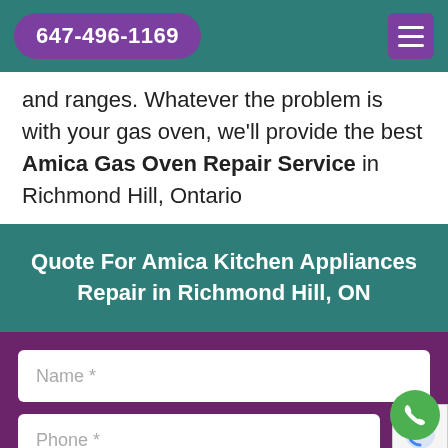647-496-1169
and ranges. Whatever the problem is with your gas oven, we'll provide the best Amica Gas Oven Repair Service in Richmond Hill, Ontario
Quote For Amica Kitchen Appliances Repair in Richmond Hill, ON
Name *
Phone *